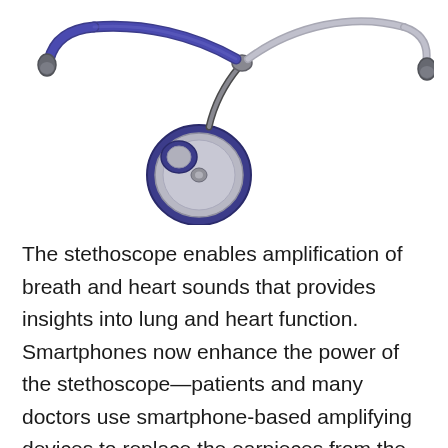[Figure (photo): A blue stethoscope with silver chest piece on a white background. The tubing is dark navy blue, with a dual-head chest piece (diaphragm and bell) and gray ear tips.]
The stethoscope enables amplification of breath and heart sounds that provides insights into lung and heart function. Smartphones now enhance the power of the stethoscope—patients and many doctors use smartphone-based amplifying devices to replace the earpieces from the traditional stethoscope, enabling patient engagement and a more informed patient-physician dialogue. Beyond